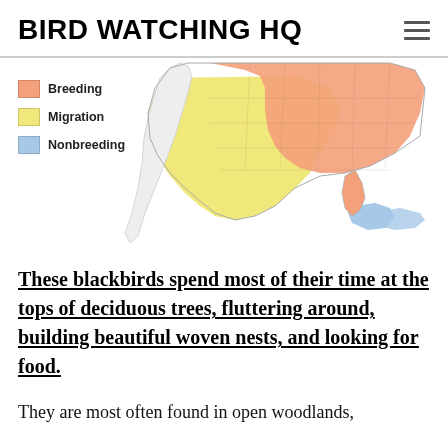BIRD WATCHING HQ
[Figure (map): Range map of North America showing breeding (salmon/orange), migration (yellow), and nonbreeding (light blue) zones for a blackbird species. Breeding zone covers much of the eastern and central US. Migration zone extends through the central US and Gulf Coast. Nonbreeding zone appears in southern Florida and Caribbean area.]
These blackbirds spend most of their time at the tops of deciduous trees, fluttering around, building beautiful woven nests, and looking for food.
They are most often found in open woodlands,